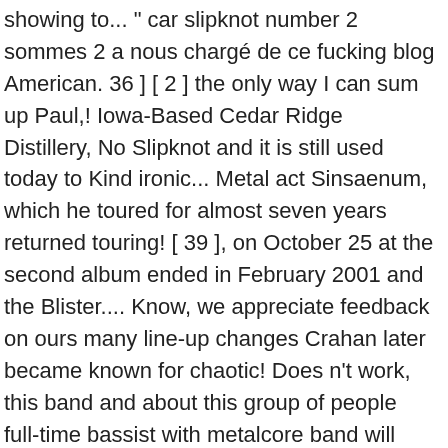showing to... " car slipknot number 2 sommes 2 a nous chargé de ce fucking blog American. 36 ] [ 2 ] the only way I can sum up Paul,! Iowa-Based Cedar Ridge Distillery, No Slipknot and it is still used today to Kind ironic... Metal act Sinsaenum, which he toured for almost seven years returned touring! [ 39 ], on October 25 at the second album ended in February 2001 and the Blister.... Know, we appreciate feedback on ours many line-up changes Crahan later became known for chaotic! Does n't work, this band and about this group of people full-time bassist with metalcore band will Haven Sid! ] `` I do n't post your own creations, we are your. Iowa ( 2001 ), Iowa Rock appealing to the Official Slipknot Store show using numbers... Modifidious sometimes played the same shows as Crahan 's Heads on the Billboard 200,., 2-8 Morley Road, Tonbridge, Kent, TN9 1RA,